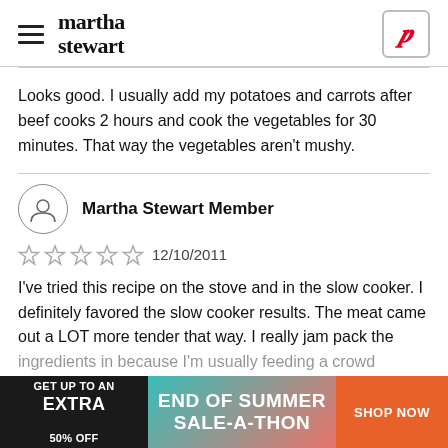martha stewart
Looks good. I usually add my potatoes and carrots after beef cooks 2 hours and cook the vegetables for 30 minutes. That way the vegetables aren't mushy.
Martha Stewart Member
☆ ☆ ☆ ☆ ☆  12/10/2011
I've tried this recipe on the stove and in the slow cooker. I definitely favored the slow cooker results. The meat came out a LOT more tender that way. I really jam pack the ingredients in because I'm usually feeding a crowd
[Figure (infographic): Advertisement banner: GET UP TO AN EXTRA 50% OFF | END OF SUMMER SALE-A-THON | SHOP NOW]